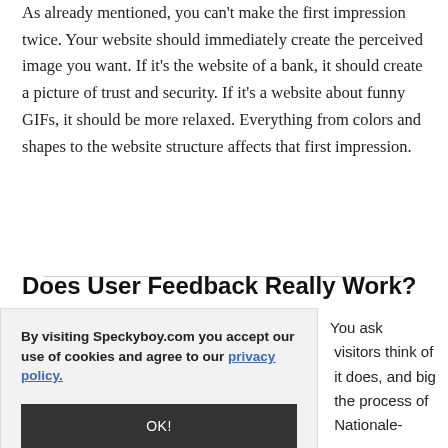As already mentioned, you can't make the first impression twice. Your website should immediately create the perceived image you want. If it's the website of a bank, it should create a picture of trust and security. If it's a website about funny GIFs, it should be more relaxed. Everything from colors and shapes to the website structure affects that first impression.
Does User Feedback Really Work?
By visiting Speckyboy.com you accept our use of cookies and agree to our privacy policy.
OK!
You ask visitors think of it does, and big the process of Nationale-Nederlanden Investment Partners.